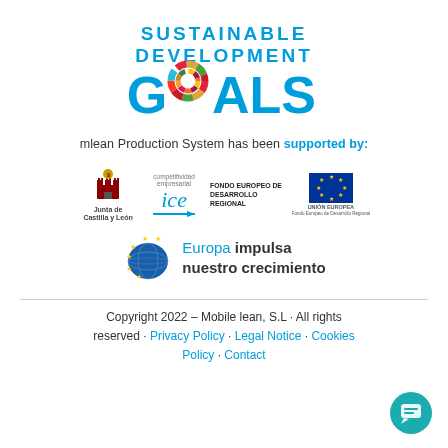[Figure (logo): UN Sustainable Development Goals logo with colorful wheel in 'GOALS' text, blue text reading SUSTAINABLE DEVELOPMENT GOALS]
mlean Production System has been supported by:
[Figure (logo): Row of sponsor logos: Junta de Castilla y León, competitividad empresarial / ICE, Fondo Europeo de Desarrollo Regional, Unión Europea EU flag]
[Figure (logo): Europa impulsa nuestro crecimiento logo with EU stars globe]
Copyright 2022 – Mobile lean, S.L · All rights reserved · Privacy Policy · Legal Notice · Cookies Policy · Contact